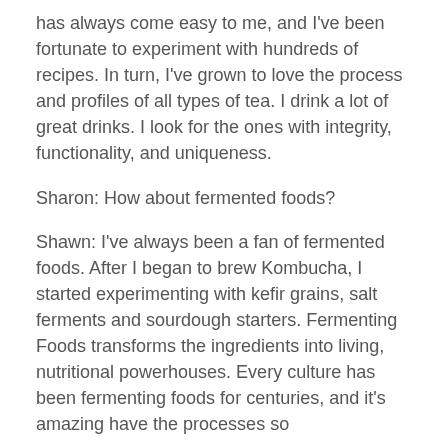has always come easy to me, and I've been fortunate to experiment with hundreds of recipes. In turn, I've grown to love the process and profiles of all types of tea. I drink a lot of great drinks. I look for the ones with integrity, functionality, and uniqueness.
Sharon: How about fermented foods?
Shawn: I've always been a fan of fermented foods. After I began to brew Kombucha, I started experimenting with kefir grains, salt ferments and sourdough starters. Fermenting Foods transforms the ingredients into living, nutritional powerhouses. Every culture has been fermenting foods for centuries, and it's amazing have the processes so